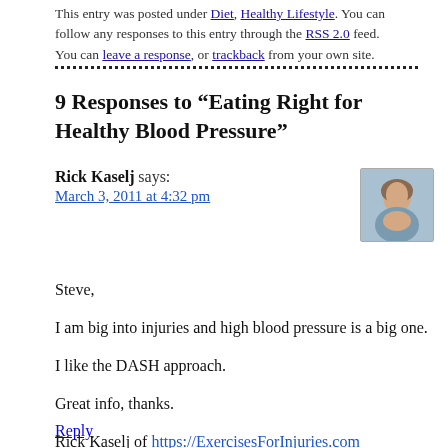This entry was posted under Diet, Healthy Lifestyle. You can follow any responses to this entry through the RSS 2.0 feed. You can leave a response, or trackback from your own site.
9 Responses to “Eating Right for Healthy Blood Pressure”
Rick Kaselj says:
March 3, 2011 at 4:32 pm
Steve,

I am big into injuries and high blood pressure is a big one.

I like the DASH approach.

Great info, thanks.

Rick Kaselj of https://ExercisesForInjuries.com

.
Reply